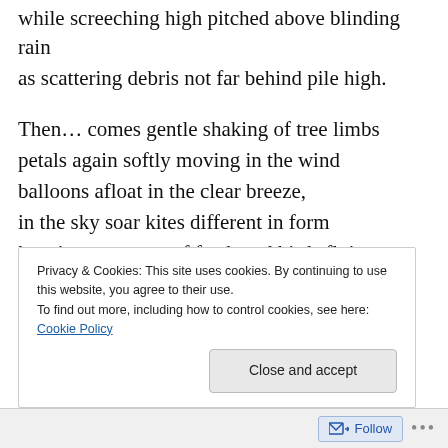while screeching high pitched above blinding rain
as scattering debris not far behind pile high.
Then… comes gentle shaking of tree limbs
petals again softly moving in the wind
balloons afloat in the clear breeze,
in the sky soar kites different in form
keeping company of feathered birds flying on high.
Across the lawn fallen leaves blow
lifting and twirling as circles amid the air
as meadows now calmed in awe do bend
Privacy & Cookies: This site uses cookies. By continuing to use this website, you agree to their use.
To find out more, including how to control cookies, see here: Cookie Policy
Close and accept
Follow ...